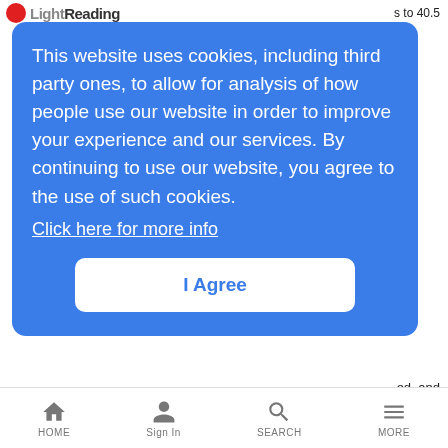Light Reading
[Figure (screenshot): Cookie consent modal overlay on LightReading website with blue background. Text reads: 'This website uses cookies, including third party ones, to allow for analysis of how people use our website in order to improve your experience and our services. By continuing to use our website, you agree to the use of such cookies. Click here for more info'. Contains 'I Agree' button.]
ed, and France preps for 802.16
SimCoronary
Monkey Bidness | 8/10/2005
Game enthusiast takes early retirement.
HOME  Sign In  SEARCH  MORE